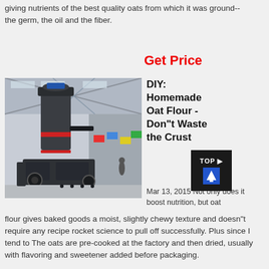giving nutrients of the best quality oats from which it was ground-- the germ, the oil and the fiber.
Get Price
[Figure (photo): Industrial milling or crushing machine in a large factory warehouse setting with steel structural beams visible in background and various colorful flags.]
DIY: Homemade Oat Flour - Don"t Waste the Crust
Mar 13, 2015 Not only does it boost nutrition, but oat flour gives baked goods a moist, slightly chewy texture and doesn"t require any recipe rocket science to pull off successfully. Plus since I tend to The oats are pre-cooked at the factory and then dried, usually with flavoring and sweetener added before packaging.